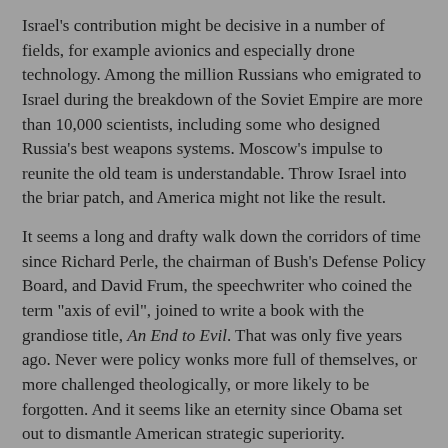Israel's contribution might be decisive in a number of fields, for example avionics and especially drone technology. Among the million Russians who emigrated to Israel during the breakdown of the Soviet Empire are more than 10,000 scientists, including some who designed Russia's best weapons systems. Moscow's impulse to reunite the old team is understandable. Throw Israel into the briar patch, and America might not like the result.
It seems a long and drafty walk down the corridors of time since Richard Perle, the chairman of Bush's Defense Policy Board, and David Frum, the speechwriter who coined the term "axis of evil", joined to write a book with the grandiose title, An End to Evil. That was only five years ago. Never were policy wonks more full of themselves, or more challenged theologically, or more likely to be forgotten. And it seems like an eternity since Obama set out to dismantle American strategic superiority.
Unlikely as it sounds, there is no "realist" school of foreign policy at work in Washington, just the idiot twins of idealism and the majority-rule fantasists. Gates seems capable of realism, at least when the intelligence reports smack him in the face like a dead mackerel. No one in Washington seems to ask the obvious questions:
Which countries are inherently friendly, which are